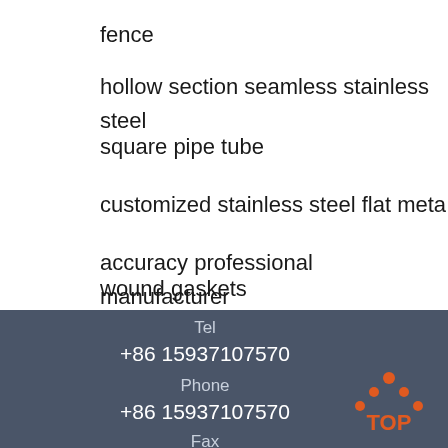fence
hollow section seamless stainless steel
square pipe tube
customized stainless steel flat meta
accuracy professional manufacturer
wound gaskets
[Figure (photo): Customer service representative smiling with headset, with 24/7 Online badge, Click here for free chat text, and QUOTATION orange button]
Tel
+86 15937107570
Phone
+86 15937107570
Fax
[Figure (logo): Orange TOP logo with dots arranged in triangle shape above the text TOP]